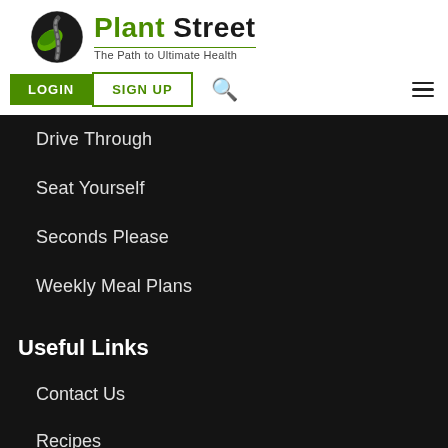[Figure (logo): Plant Street logo with green leaf/road icon and tagline 'The Path to Ultimate Health']
LOGIN | SIGN UP | Search | Hamburger menu
Drive Through
Seat Yourself
Seconds Please
Weekly Meal Plans
Useful Links
Contact Us
Recipes
Videos